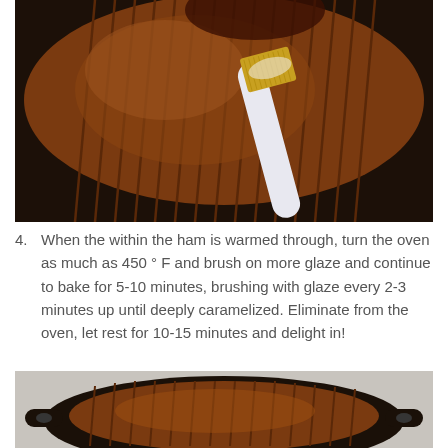[Figure (photo): A basting brush applying glaze to a scored, caramelized ham in a dark cast iron pan, viewed from above at close range.]
4. When the within the ham is warmed through, turn the oven as much as 450 ° F and brush on more glaze and continue to bake for 5-10 minutes, brushing with glaze every 2-3 minutes up until deeply caramelized. Eliminate from the oven, let rest for 10-15 minutes and delight in!
[Figure (photo): A scored, deeply caramelized ham in a black cast iron skillet with handles on both sides, viewed from above on a light gray surface.]